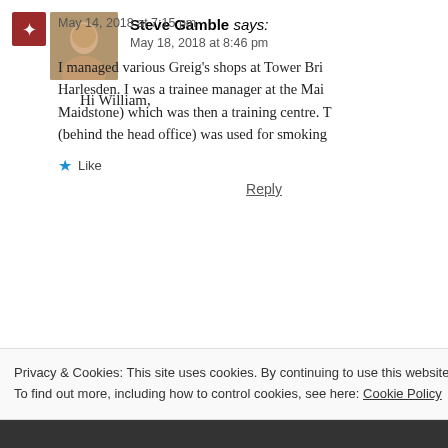May 14, 2018 at 7:15 pm
I managed various Greig's shops at Tower Bri[dge], Harlesden. I was a trainee manager at the Mai[dstone] (Maidstone) which was then a training centre. T[he area] (behind the head office) was used for smoking
Like
Reply
Steve Gamble says:
May 18, 2018 at 8:46 pm
Hi William,
Privacy & Cookies: This site uses cookies. By continuing to use this website, you agree to their use.
To find out more, including how to control cookies, see here: Cookie Policy
Close and accept